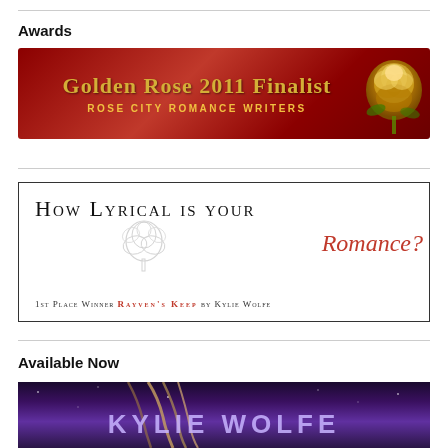Awards
[Figure (illustration): Golden Rose 2011 Finalist banner for Rose City Romance Writers — red gradient background with gold rose graphic on right and gold text on left]
[Figure (illustration): How Lyrical Is Your Romance? banner — white background with black and red text, pencil sketch of roses, red italic script 'Romance?' and subtitle '1st Place Winner Rayven's Keep by Kylie Wolfe']
Available Now
[Figure (illustration): Kylie Wolfe book banner — dark purple/space background with a woman's hair visible and large text 'KYLIE WOLFE' in lavender letters]